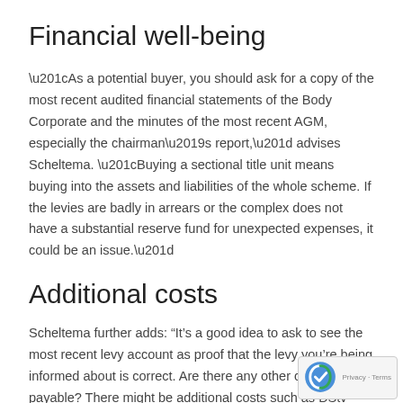Financial well-being
“As a potential buyer, you should ask for a copy of the most recent audited financial statements of the Body Corporate and the minutes of the most recent AGM, especially the chairman’s report,” advises Scheltema. “Buying a sectional title unit means buying into the assets and liabilities of the whole scheme. If the levies are badly in arrears or the complex does not have a substantial reserve fund for unexpected expenses, it could be an issue.”
Additional costs
Scheltema further adds: “It’s a good idea to ask to see the most recent levy account as proof that the levy you’re being informed about is correct. Are there any other charges payable? There might be additional costs such as DStv connection charges, parking fees or special levy